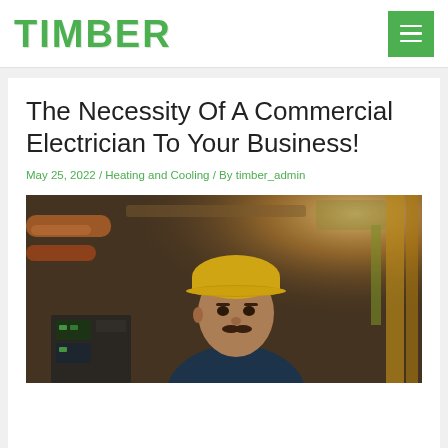TIMBER
The Necessity Of A Commercial Electrician To Your Business!
May 25, 2022 / Heating and Cooling / By timber_admin
[Figure (photo): A man wearing a yellow hard hat working in an industrial/electrical facility with equipment and cables visible in the background]